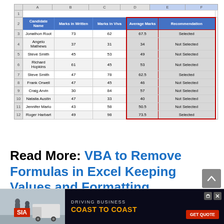[Figure (screenshot): Excel spreadsheet screenshot showing a table of candidate exam results with columns: Candidate Name, Marks in Written, Marks in Viva, Average Marks, Recommendation. The Average Marks and Recommendation columns are highlighted with a red border.]
| Candidate Name | Marks in Written | Marks in Viva | Average Marks | Recommendation |
| --- | --- | --- | --- | --- |
| Jonathon Root | 73 | 62 | 67.5 | Selected |
| Angelo Mathews | 37 | 31 | 34 | Not Selected |
| Steve Smith | 45 | 53 | 49 | Not Selected |
| Richard Hopkins | 61 | 45 | 53 | Not Selected |
| Steve Smith | 47 | 78 | 62.5 | Selected |
| Frank Orwell | 47 | 45 | 46 | Not Selected |
| Craig Arvin | 30 | 84 | 57 | Not Selected |
| Natalia Austin | 47 | 33 | 40 | Not Selected |
| Jennifer Marlo | 43 | 58 | 50.5 | Not Selected |
| Roger Harbart | 49 | 98 | 73.5 | Selected |
Read More: VBA to Remove Formulas in Excel Keeping Values and Formatting
[Figure (photo): Advertisement banner for SIA freight company: DRIVING BUSINESS COAST TO COAST with GET QUOTE button]